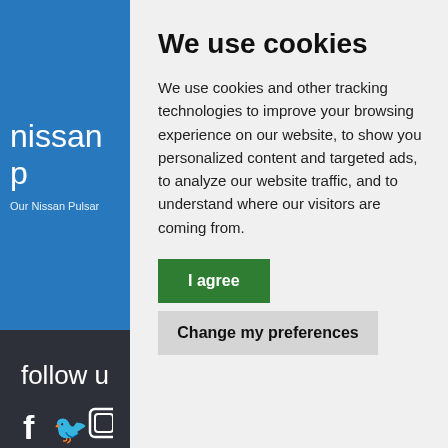nissan p
Our Nissan Pulsar
follow u
[Figure (infographic): Social media icons: Facebook f, Twitter bird, and a third icon, displayed in white on dark background]
We use cookies
We use cookies and other tracking technologies to improve your browsing experience on our website, to show you personalized content and targeted ads, to analyze our website traffic, and to understand where our visitors are coming from.
I agree
Change my preferences
Nissan Pulsar Fo
Copyright 2O
Motoring